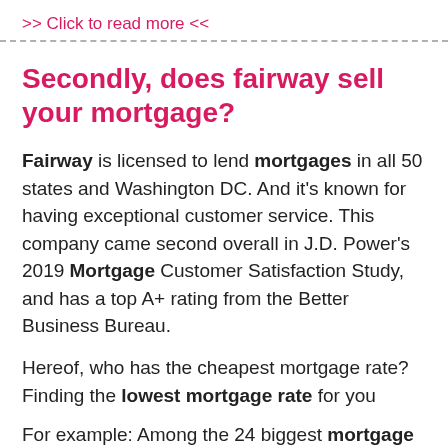>> Click to read more <<
Secondly, does fairway sell your mortgage?
Fairway is licensed to lend mortgages in all 50 states and Washington DC. And it’s known for having exceptional customer service. This company came second overall in J.D. Power’s 2019 Mortgage Customer Satisfaction Study, and has a top A+ rating from the Better Business Bureau.
Hereof, who has the cheapest mortgage rate? Finding the lowest mortgage rate for you
For example: Among the 24 biggest mortgage lenders, USAA had the lowest average mortgage